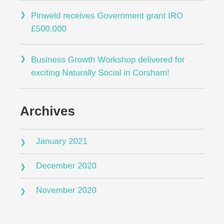Pinweld receives Government grant IRO £500,000
Business Growth Workshop delivered for exciting Naturally Social in Corsham!
Archives
January 2021
December 2020
November 2020